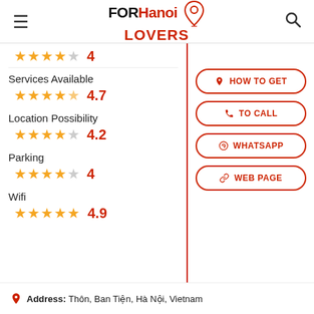FOR Hanoi LOVERS
Services Available — 4.7 stars
Location Possibility — 4.2 stars
Parking — 4 stars
Wifi — 4.9 stars
HOW TO GET
TO CALL
WHATSAPP
WEB PAGE
Address: Thôn, Ban Tiện, Hà Nội, Vietnam